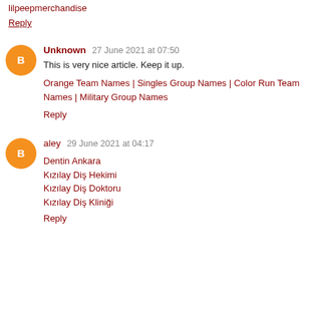lilpeepmerchandise
Reply
Unknown  27 June 2021 at 07:50
This is very nice article. Keep it up.
Orange Team Names | Singles Group Names | Color Run Team Names | Military Group Names
Reply
aley  29 June 2021 at 04:17
Dentin Ankara
Kızılay Diş Hekimi
Kızılay Diş Doktoru
Kızılay Diş Kliniği
Reply